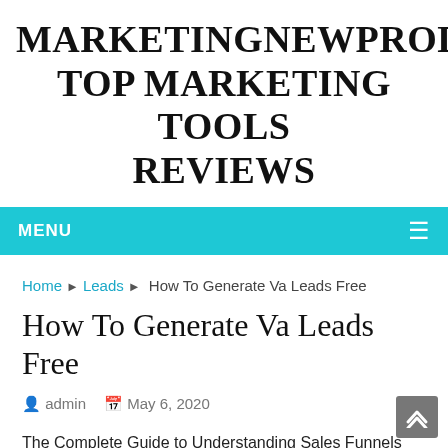MARKETINGNEWPRODUCT TOP MARKETING TOOLS REVIEWS
MENU
Home ▶ Leads ▶ How To Generate Va Leads Free
How To Generate Va Leads Free
admin   May 6, 2020
The Complete Guide to Understanding Sales Funnels and How to Enhance Your Conversion Rates